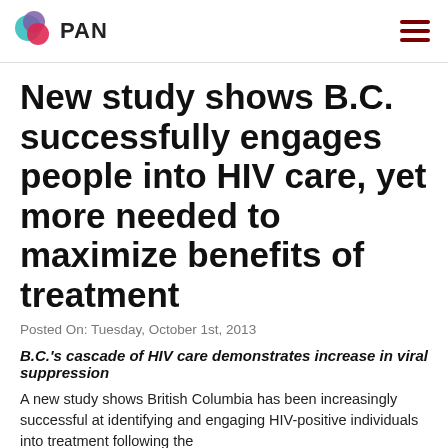PAN
New study shows B.C. successfully engages people into HIV care, yet more needed to maximize benefits of treatment
Posted On: Tuesday, October 1st, 2013
B.C.'s cascade of HIV care demonstrates increase in viral suppression
A new study shows British Columbia has been increasingly successful at identifying and engaging HIV-positive individuals into treatment following the